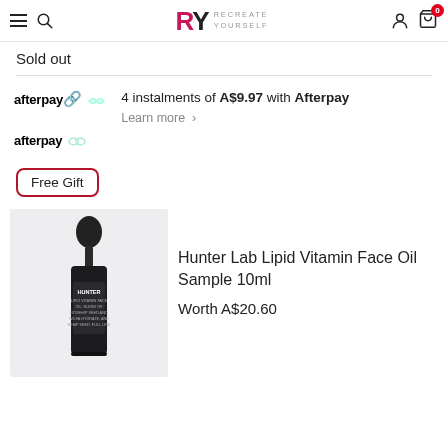RY RECREATE YOURSELF
Sold out
4 instalments of A$9.97 with Afterpay
Learn more
Free Gift
[Figure (photo): Hunter Lab Lipid Vitamin Face Oil Sample 10ml bottle with dropper, dark glass bottle on light grey background]
Hunter Lab Lipid Vitamin Face Oil Sample 10ml
Worth A$20.60